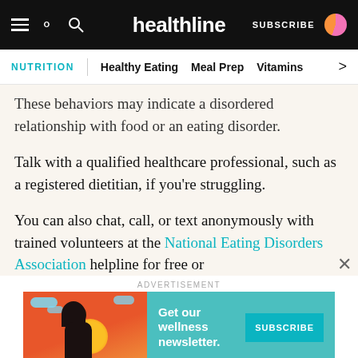healthline | SUBSCRIBE
NUTRITION | Healthy Eating | Meal Prep | Vitamins
These behaviors may indicate a disordered relationship with food or an eating disorder.
Talk with a qualified healthcare professional, such as a registered dietitian, if you’re struggling.
You can also chat, call, or text anonymously with trained volunteers at the National Eating Disorders Association helpline for free or
ADVERTISEMENT
[Figure (infographic): Advertisement banner for Healthline wellness newsletter with a stylized woman illustration on an orange/red background, teal background with text 'Get our wellness newsletter.' and a cyan SUBSCRIBE button.]